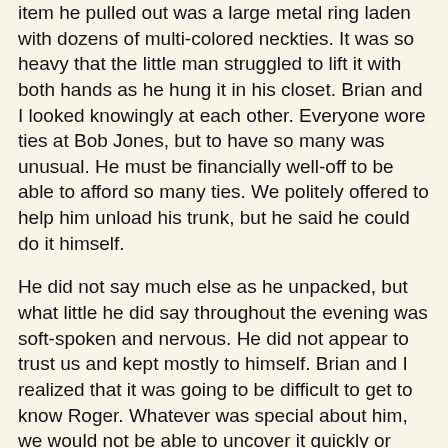item he pulled out was a large metal ring laden with dozens of multi-colored neckties. It was so heavy that the little man struggled to lift it with both hands as he hung it in his closet. Brian and I looked knowingly at each other. Everyone wore ties at Bob Jones, but to have so many was unusual. He must be financially well-off to be able to afford so many ties. We politely offered to help him unload his trunk, but he said he could do it himself.
He did not say much else as he unpacked, but what little he did say throughout the evening was soft-spoken and nervous. He did not appear to trust us and kept mostly to himself. Brian and I realized that it was going to be difficult to get to know Roger. Whatever was special about him, we would not be able to uncover it quickly or easily.
In the Weeks Before the FBI Became Involved, Roger Began to Open Up Some.
This tends to happen naturally with roommates. They get to know each other whether they like it or not. We still had to ply him carefully to reveal information about himself. Bit by bit, Roger succumbed to our discrete